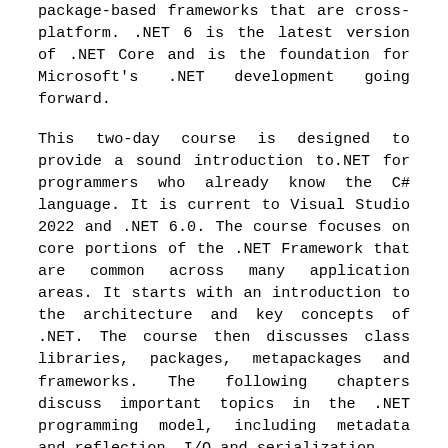package-based frameworks that are cross-platform. .NET 6 is the latest version of .NET Core and is the foundation for Microsoft's .NET development going forward.
This two-day course is designed to provide a sound introduction to.NET for programmers who already know the C# language. It is current to Visual Studio 2022 and .NET 6.0. The course focuses on core portions of the .NET Framework that are common across many application areas. It starts with an introduction to the architecture and key concepts of .NET. The course then discusses class libraries, packages, metapackages and frameworks. The following chapters discuss important topics in the .NET programming model, including metadata and reflection, I/O and serialization,